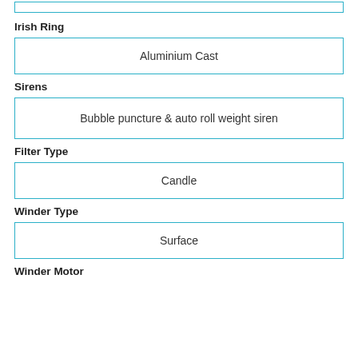Irish Ring
Aluminium Cast
Sirens
Bubble puncture & auto roll weight siren
Filter Type
Candle
Winder Type
Surface
Winder Motor